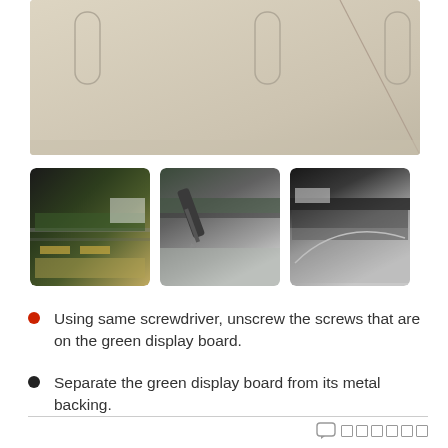[Figure (photo): Top view of a device back panel showing three curved slots/tabs on a beige/tan metallic surface with a diagonal line]
[Figure (photo): Three photos side by side showing steps for removing screws from a green display board using a screwdriver and separating it from its metal backing]
Using same screwdriver, unscrew the screws that are on the green display board.
Separate the green display board from its metal backing.
comment icon followed by six small squares